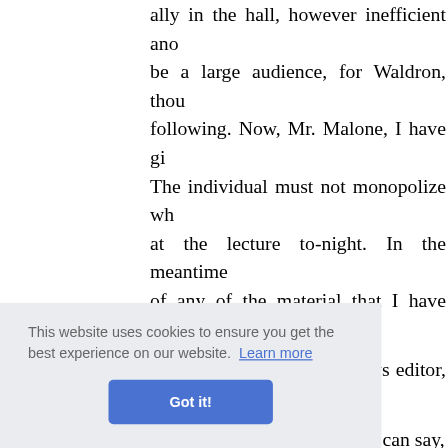ally in the hall, however inefficient and be a large audience, for Waldron, thou following. Now, Mr. Malone, I have gi The individual must not monopolize wh at the lecture to-night. In the meantime of any of the material that I have given y
"But Mr. McArdle—my news editor, yo
"Tell him what you like. You can say, intrude upon me I shall call upon him w all this appears in print. Very good. T night." I had a last impression of red c
This website uses cookies to ensure you get the best experience on our website. Learn more
Got it!